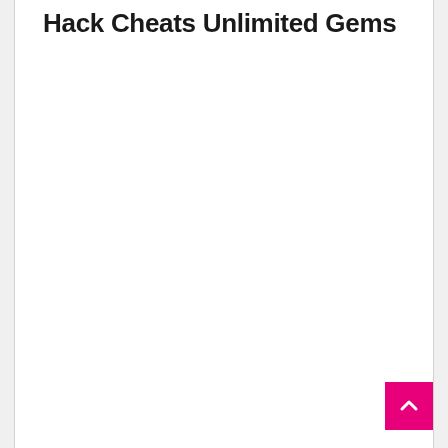Hack Cheats Unlimited Gems
[Figure (other): Scroll-to-top button: pink/magenta square button with a white upward-pointing chevron arrow, positioned at the bottom-right corner of the page.]